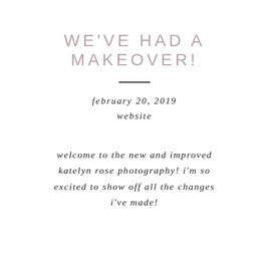WE'VE HAD A MAKEOVER!
february 20, 2019
website
welcome to the new and improved katelyn rose photography! i'm so excited to show off all the changes i've made!